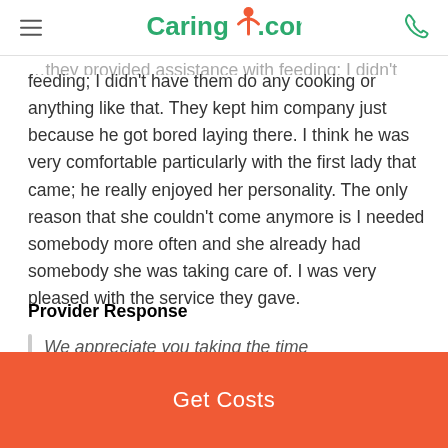Caring.com
feeding; I didn't have them do any cooking or anything like that. They kept him company just because he got bored laying there. I think he was very comfortable particularly with the first lady that came; he really enjoyed her personality. The only reason that she couldn't come anymore is I needed somebody more often and she already had somebody she was taking care of. I was very pleased with the service they gave.
Provider Response
We appreciate you taking the time